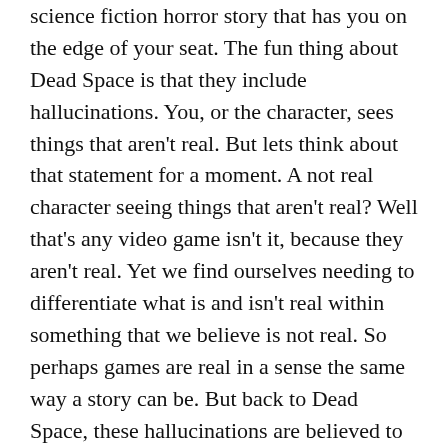science fiction horror story that has you on the edge of your seat. The fun thing about Dead Space is that they include hallucinations. You, or the character, sees things that aren't real. But lets think about that statement for a moment. A not real character seeing things that aren't real? Well that's any video game isn't it, because they aren't real. Yet we find ourselves needing to differentiate what is and isn't real within something that we believe is not real. So perhaps games are real in a sense the same way a story can be. But back to Dead Space, these hallucinations are believed to be real by the character until proven otherwise. There is one cutscene where an enemy appears and tries to stab your character in the eye with a syringe. When you succeed in stopping them though they disappears and your character is the one holding syringe (pictures below).  Even though it was a hallucination and not real and was likely not believed by the